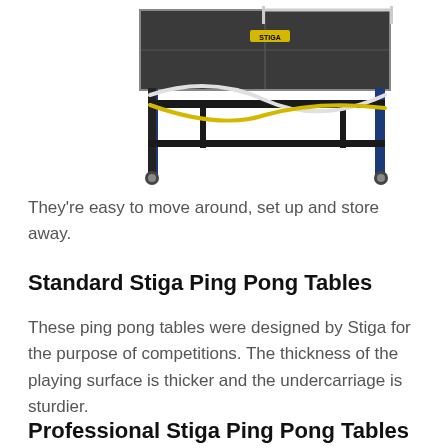[Figure (photo): Photo of a ping pong table (Stiga brand) shown partially from above at an angle, with black metal frame, blue legs, wheels, and elastic cords in white and yellow stretched across the underside.]
They're easy to move around, set up and store away.
Standard Stiga Ping Pong Tables
These ping pong tables were designed by Stiga for the purpose of competitions. The thickness of the playing surface is thicker and the undercarriage is sturdier.
Professional Stiga Ping Pong Tables